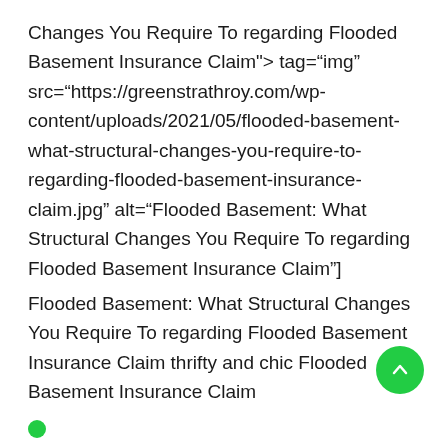Changes You Require To regarding Flooded Basement Insurance Claim"> tag="img" src="https://greenstrathroy.com/wp-content/uploads/2021/05/flooded-basement-what-structural-changes-you-require-to-regarding-flooded-basement-insurance-claim.jpg" alt="Flooded Basement: What Structural Changes You Require To regarding Flooded Basement Insurance Claim"]
Flooded Basement: What Structural Changes You Require To regarding Flooded Basement Insurance Claim thrifty and chic Flooded Basement Insurance Claim